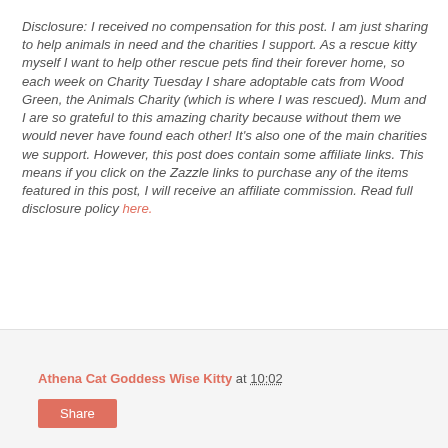Disclosure: I received no compensation for this post. I am just sharing to help animals in need and the charities I support. As a rescue kitty myself I want to help other rescue pets find their forever home, so each week on Charity Tuesday I share adoptable cats from Wood Green, the Animals Charity (which is where I was rescued). Mum and I are so grateful to this amazing charity because without them we would never have found each other! It's also one of the main charities we support. However, this post does contain some affiliate links. This means if you click on the Zazzle links to purchase any of the items featured in this post, I will receive an affiliate commission. Read full disclosure policy here.
Athena Cat Goddess Wise Kitty at 10:02  Share